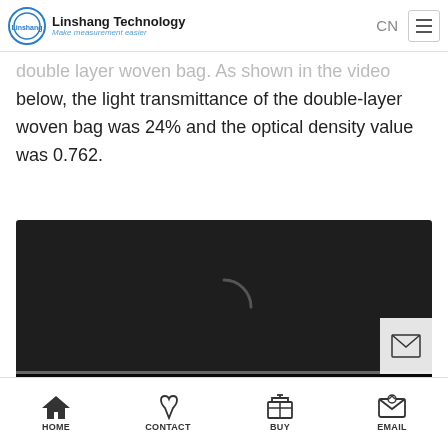Linshang Technology — Make measurement easier
double layer woven bag. As shown in the video below, the light transmittance of the double-layer woven bag was 24% and the optical density value was 0.762.
[Figure (screenshot): Video player showing loading spinner, controls bar with play button, timestamp 0:00, volume, fullscreen and more options icons, and a grey progress bar at the bottom. A mail icon overlay appears in the lower-right corner of the video.]
HOME   CONTACT   BUY   EMAIL